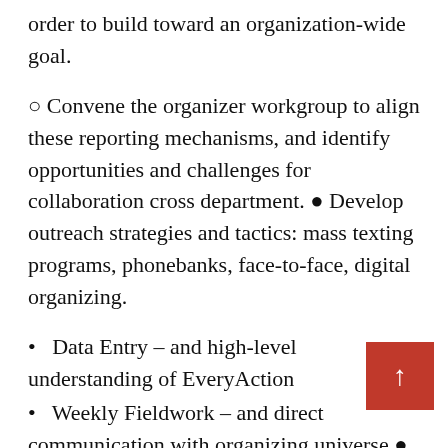order to build toward an organization-wide goal.
○ Convene the organizer workgroup to align these reporting mechanisms, and identify opportunities and challenges for collaboration cross department. ● Develop outreach strategies and tactics: mass texting programs, phonebanks, face-to-face, digital organizing.
• Data Entry – and high-level understanding of EveryAction
• Weekly Fieldwork – and direct communication with organizing universe ● Bridging